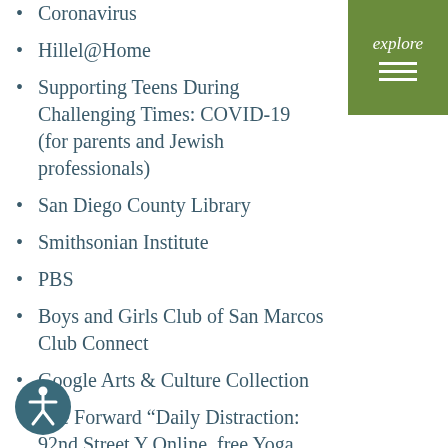Coronavirus
[Figure (infographic): Green explore badge with italic 'explore' text and three horizontal white menu lines]
Hillel@Home
Supporting Teens During Challenging Times: COVID-19 (for parents and Jewish professionals)
San Diego County Library
Smithsonian Institute
PBS
Boys and Girls Club of San Marcos Club Connect
Google Arts & Culture Collection
The Forward “Daily Distraction: 92nd Street Y Online, free Yoga, Jewish Museum audio tour”
Mission Driven Finance COVID-19 Resources for Small Business and Nonprofit
[Figure (illustration): Accessibility icon: circular teal icon with a person/wheelchair symbol]